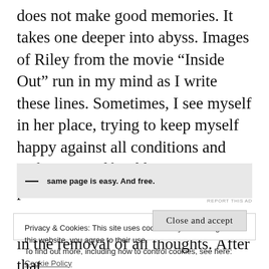does not make good memories. It takes one deeper into abyss. Images of Riley from the movie “Inside Out” run in my mind as I write these lines. Sometimes, I see myself in her place, trying to keep myself happy against all conditions and making myself sadder as time passes.
[Figure (other): Advertisement banner with dash and text: same page is easy. And free.]
REPORT THIS AD
Privacy & Cookies: This site uses cookies. By continuing to use this website, you agree to their use.
To find out more, including how to control cookies, see here: Cookie Policy
Close and accept
in the removal of all thoughts. After that,